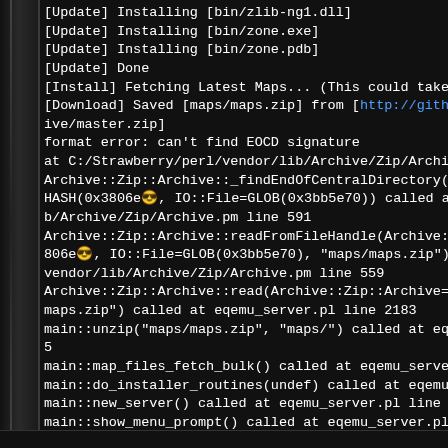[Figure (screenshot): Terminal/console window showing installation log output with error messages. Dark background with white monospace text. Shows update/install progress followed by Perl Archive::Zip error messages and a 'Press any key to continue' prompt.]